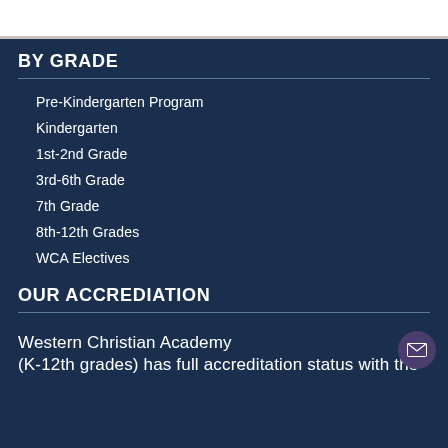BY GRADE
Pre-Kindergarten Program
Kindergarten
1st-2nd Grade
3rd-6th Grade
7th Grade
8th-12th Grades
WCA Electives
OUR ACCREDIATION
Western Christian Academy
(K-12th grades) has full accreditation status with the